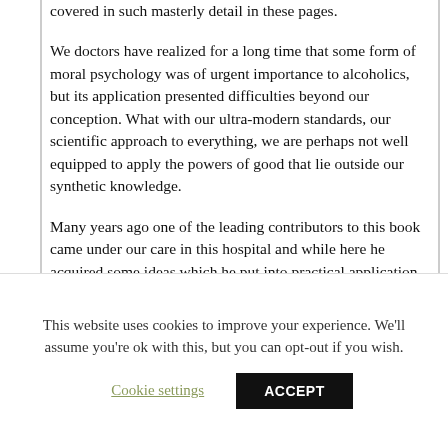covered in such masterly detail in these pages.
We doctors have realized for a long time that some form of moral psychology was of urgent importance to alcoholics, but its application presented difficulties beyond our conception. What with our ultra-modern standards, our scientific approach to everything, we are perhaps not well equipped to apply the powers of good that lie outside our synthetic knowledge.
Many years ago one of the leading contributors to this book came under our care in this hospital and while here he acquired some ideas which he put into practical application at once.
Later, he requested the privilege of being allowed to tell his
This website uses cookies to improve your experience. We'll assume you're ok with this, but you can opt-out if you wish.